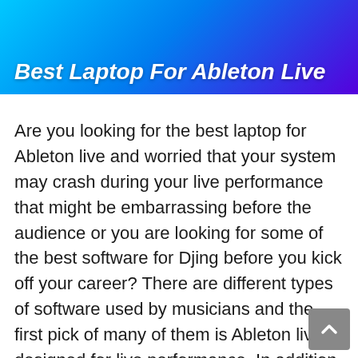[Figure (other): Header banner with gradient background (cyan to blue to purple) showing the title 'Best Laptop For Ableton Live' in bold white italic text, with partial laptop images visible at top]
Best Laptop For Ableton Live
Are you looking for the best laptop for Ableton live and worried that your system may crash during your live performance that might be embarrassing before the audience or you are looking for some of the best software for Djing before you kick off your career? There are different types of software used by musicians and the first pick of many of them is Ableton live, designed for live performance. In addition to that, it is also used for composing, recording, arranging, recording, and for